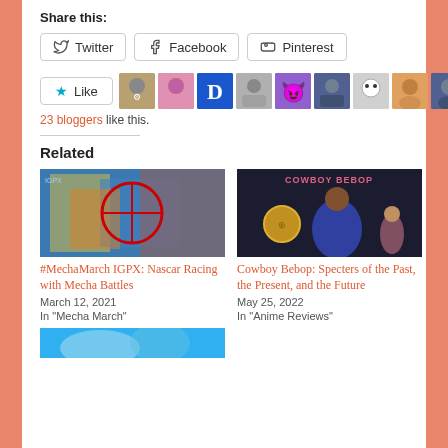Share this:
Twitter  Facebook  Pinterest
[Figure (other): Like button and avatar strip showing 23 bloggers who liked this post]
23 bloggers like this.
Related
[Figure (photo): Anime mecha battle scene with red target circle overlay - IGPX]
#MechaMarch IGPX: Nascar Racing with Mecha Battles
March 12, 2021
In "Mecha March"
[Figure (photo): Cowboy Bebop promotional image with characters and logo text]
Cowboy Bebop: Specters of the Past, the Present, and the Future
May 25, 2022
In "Anime Reviews"
[Figure (photo): Partial anime image at bottom, cut off]